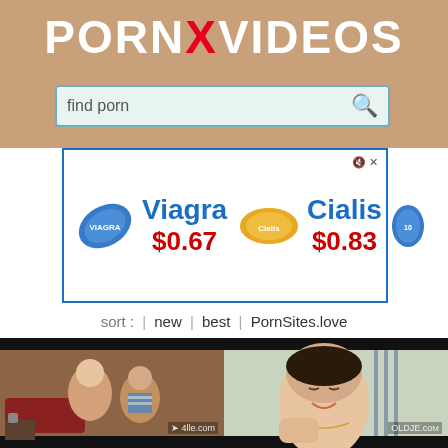[Figure (screenshot): Screenshot of a pornographic video website called PORNXVIDEOS showing a search bar with 'find porn', a Viagra/Cialis advertisement banner, sort options, and video thumbnails]
PORNXVIDEOS
find porn
[Figure (screenshot): Advertisement banner showing Viagra $0.67 and Cialis $0.83 with pill images]
sort : | new | best | PornSites.love
[Figure (photo): Video thumbnail grid showing adult content]
[Figure (photo): Second row of video thumbnails]